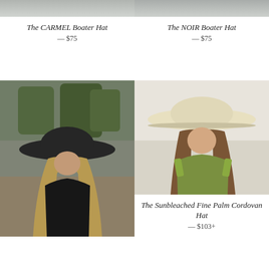[Figure (photo): Cropped top of product photo for The CARMEL Boater Hat]
The CARMEL Boater Hat
— $75
[Figure (photo): Cropped top of product photo for The NOIR Boater Hat]
The NOIR Boater Hat
— $75
[Figure (photo): Woman wearing a wide-brim dark charcoal/black felt hat, with long blonde hair, black sleeveless outfit, outdoor desert/orchard background]
[Figure (photo): Woman wearing a wide-brim cream/natural straw hat, with long brown hair, green sleeveless top, soft light background]
The Sunbleached Fine Palm Cordovan Hat
— $103+